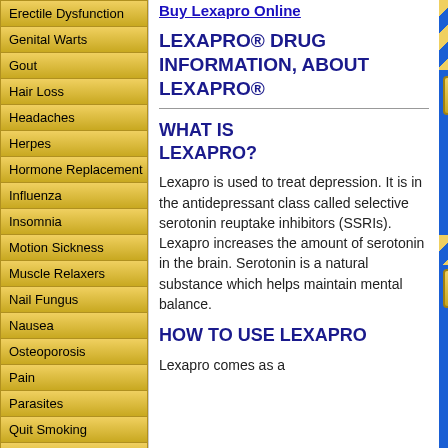Erectile Dysfunction
Genital Warts
Gout
Hair Loss
Headaches
Herpes
Hormone Replacement
Influenza
Insomnia
Motion Sickness
Muscle Relaxers
Nail Fungus
Nausea
Osteoporosis
Pain
Parasites
Quit Smoking
Skin Care
Weight Loss
Woman Health
Yeast Infection
Buy Lexapro Online
LEXAPRO® DRUG INFORMATION, ABOUT LEXAPRO®
WHAT IS LEXAPRO?
Lexapro is used to treat depression. It is in the antidepressant class called selective serotonin reuptake inhibitors (SSRIs). Lexapro increases the amount of serotonin in the brain. Serotonin is a natural substance which helps maintain mental balance.
HOW TO USE LEXAPRO
Lexapro comes as a